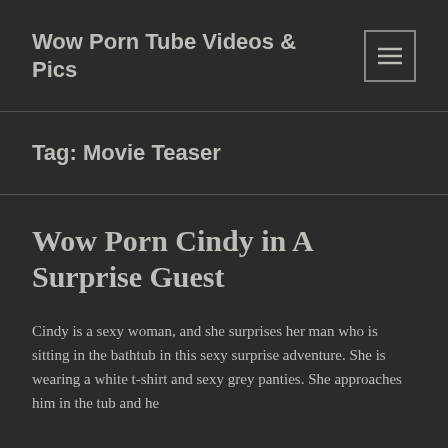Wow Porn Tube Videos & Pics
Tag: Movie Teaser
Wow Porn Cindy in A Surprise Guest
Cindy is a sexy woman, and she surprises her man who is sitting in the bathtub in this sexy surprise adventure. She is wearing a white t-shirt and sexy grey panties. She approaches him in the tub and he